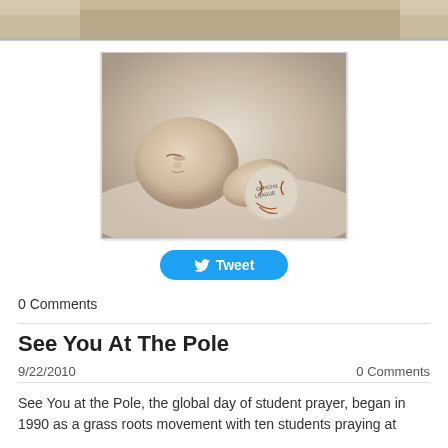[Figure (photo): Partial view of a photo at the top of the page, showing a wooden surface background]
[Figure (photo): A sleeping newborn baby holding a baseball, sepia-toned photograph with white border]
Tweet
0 Comments
See You At The Pole
9/22/2010
0 Comments
See You at the Pole, the global day of student prayer, began in 1990 as a grass roots movement with ten students praying at